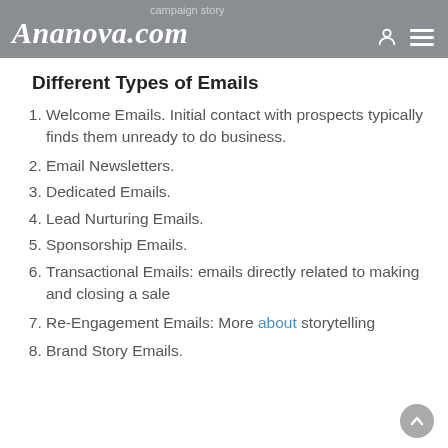Ananova.com — campaign story
Different Types of Emails
Welcome Emails. Initial contact with prospects typically finds them unready to do business.
Email Newsletters.
Dedicated Emails.
Lead Nurturing Emails.
Sponsorship Emails.
Transactional Emails: emails directly related to making and closing a sale
Re-Engagement Emails: More about storytelling
Brand Story Emails.